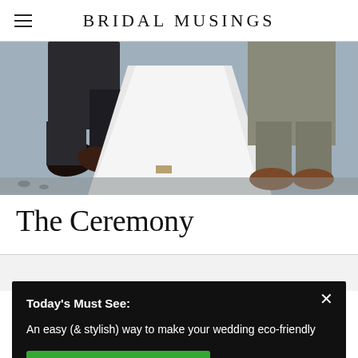BRIDAL MUSINGS
[Figure (photo): Close-up photo of a bride in a white flowing dress and a groom in dark suit, showing their feet and lower bodies on stone steps]
The Ceremony
Today's Must See:
An easy (& stylish) way to make your wedding eco-friendly
SHOW ME!